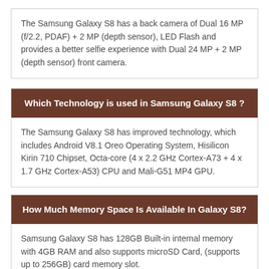The Samsung Galaxy S8 has a back camera of Dual 16 MP (f/2.2, PDAF) + 2 MP (depth sensor), LED Flash and provides a better selfie experience with Dual 24 MP + 2 MP (depth sensor) front camera.
Which Technology is used in Samsung Galaxy S8 ?
The Samsung Galaxy S8 has improved technology, which includes Android V8.1 Oreo Operating System, Hisilicon Kirin 710 Chipset, Octa-core (4 x 2.2 GHz Cortex-A73 + 4 x 1.7 GHz Cortex-A53) CPU and Mali-G51 MP4 GPU.
How Much Memory Space Is Available In Galaxy S8?
Samsung Galaxy S8 has 128GB Built-in internal memory with 4GB RAM and also supports microSD Card, (supports up to 256GB) card memory slot.